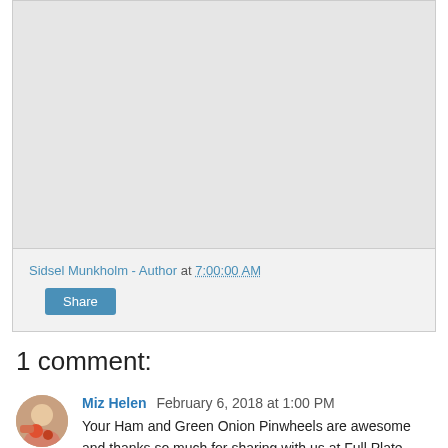[Figure (photo): Gray placeholder block at top of blog post card]
Sidsel Munkholm - Author at 7:00:00 AM
Share
1 comment:
[Figure (photo): Round avatar photo of Miz Helen]
Miz Helen February 6, 2018 at 1:00 PM
Your Ham and Green Onion Pinwheels are awesome and thanks so much for sharing with us at Full Plate Thursday.